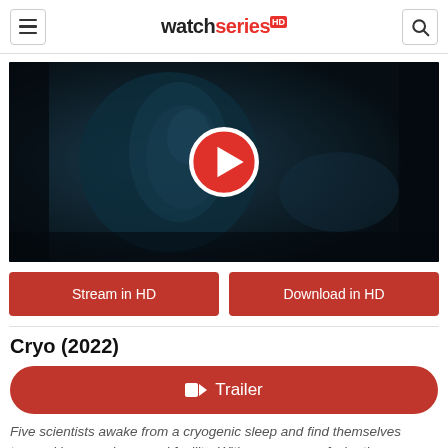watchseriesHD
[Figure (screenshot): Dark cinematic movie still showing a man's face in profile with teal/dark blue lighting, with a red and white circular play button overlay in the center]
Stream in HD
Download in HD
Cryo (2022)
Trailer
Five scientists awake from a cryogenic sleep and find themselves trapped in an underground facility. With no memory of who they are or how long they've been asleep, they begin to realize they may have been part of a